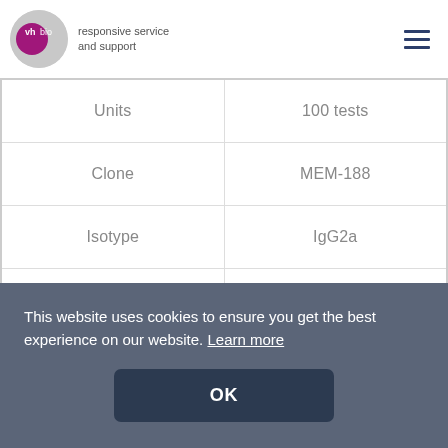vhbio responsive service and support
| Units | 100 tests |
| --- | --- |
| Clone | MEM-188 |
| Isotype | IgG2a |
| Host | Mouse |
|  | CLX61B |
This website uses cookies to ensure you get the best experience on our website. Learn more
OK